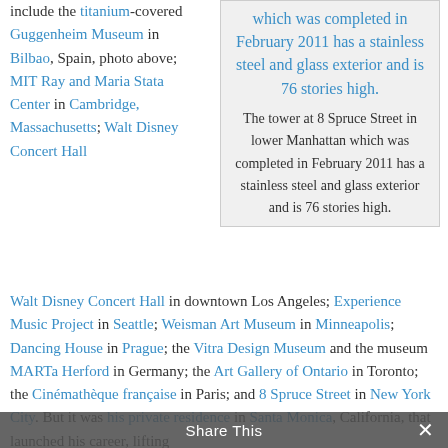include the titanium-covered Guggenheim Museum in Bilbao, Spain, photo above; MIT Ray and Maria Stata Center in Cambridge, Massachusetts; Walt Disney Concert Hall in downtown Los Angeles; Experience Music Project in Seattle; Weisman Art Museum in Minneapolis; Dancing House in Prague; the Vitra Design Museum and the museum MARTa Herford in Germany; the Art Gallery of Ontario in Toronto; the Cinémathèque française in Paris; and 8 Spruce Street in New York City. But it was his private residence in Santa Monica, California, that launched his career, lifting
which was completed in February 2011 has a stainless steel and glass exterior and is 76 stories high. The tower at 8 Spruce Street in lower Manhattan which was completed in February 2011 has a stainless steel and glass exterior and is 76 stories high.